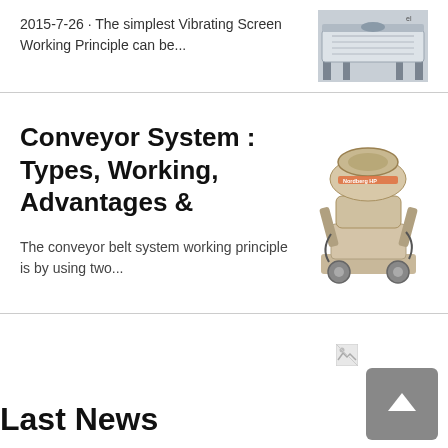2015-7-26 · The simplest Vibrating Screen Working Principle can be...
[Figure (photo): Photo of a vibrating screen industrial machine, light gray/white background]
Conveyor System : Types, Working, Advantages &
[Figure (photo): Photo of a cone crusher machine, beige/cream color with visible mechanical components]
The conveyor belt system working principle is by using two...
[Figure (other): Broken image icon, small, top right of bottom section]
Last News